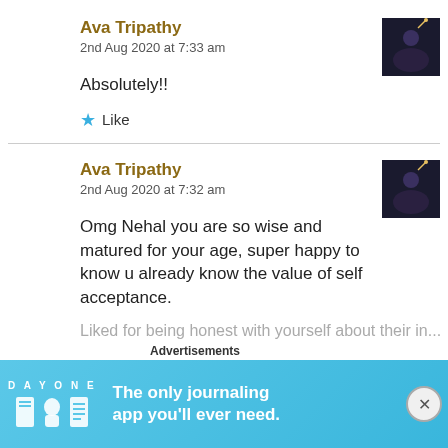Ava Tripathy
2nd Aug 2020 at 7:33 am
Absolutely!!
★ Like
Ava Tripathy
2nd Aug 2020 at 7:32 am
Omg Nehal you are so wise and matured for your age, super happy to know u already know the value of self acceptance.
Advertisements
[Figure (screenshot): Day One journaling app advertisement banner with icons and text: The only journaling app you'll ever need.]